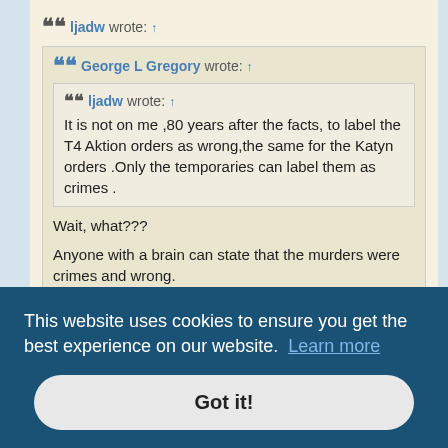ljadw wrote: ↑
George L Gregory wrote: ↑
ljadw wrote: ↑
It is not on me ,80 years after the facts, to label the T4 Aktion orders as wrong,the same for the Katyn orders .Only the temporaries can label them as crimes .
Wait, what???
Anyone with a brain can state that the murders were crimes and wrong.
...ing ...ders ...by the ...n
contemporaries, it can't be a crime for us .
This website uses cookies to ensure you get the best experience on our website.  Learn more
Got it!